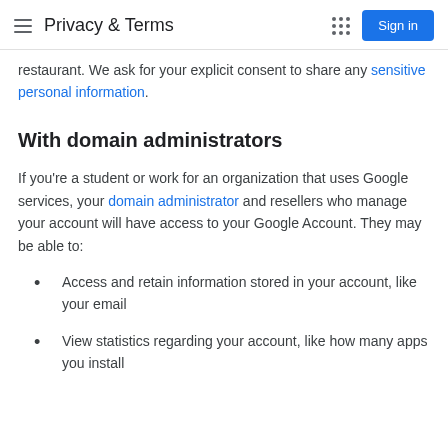Privacy & Terms
restaurant. We ask for your explicit consent to share any sensitive personal information.
With domain administrators
If you're a student or work for an organization that uses Google services, your domain administrator and resellers who manage your account will have access to your Google Account. They may be able to:
Access and retain information stored in your account, like your email
View statistics regarding your account, like how many apps you install